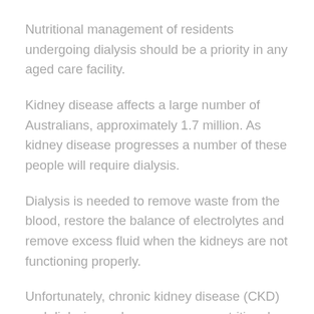Nutritional management of residents undergoing dialysis should be a priority in any aged care facility.
Kidney disease affects a large number of Australians, approximately 1.7 million. As kidney disease progresses a number of these people will require dialysis.
Dialysis is needed to remove waste from the blood, restore the balance of electrolytes and remove excess fluid when the kidneys are not functioning properly.
Unfortunately, chronic kidney disease (CKD) and dialysis can have numerous nutritional